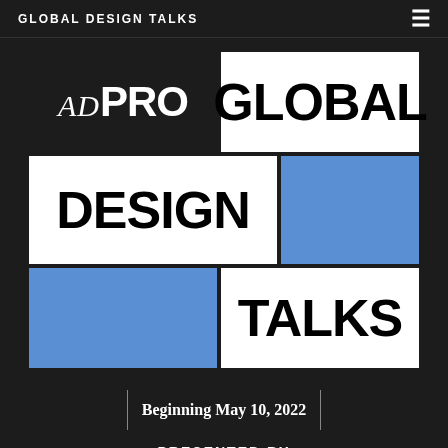GLOBAL DESIGN TALKS
[Figure (logo): ADPRO Global Design Talks logo composed of a grid of white and blue rectangular blocks with ADPRO serif/sans logo on dark background, and bold black text GLOBAL, DESIGN, TALKS in white boxes with blue accent boxes]
Beginning May 10, 2022
PRESENTED BY